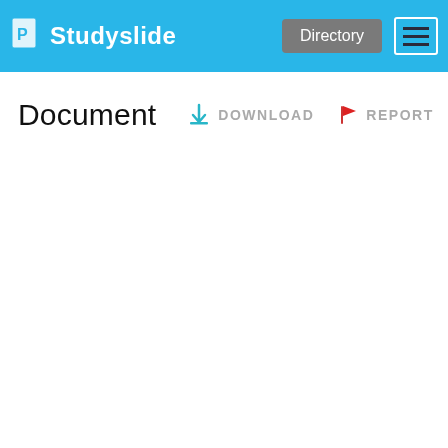Studyslide — Directory | Menu
Document
DOWNLOAD   REPORT